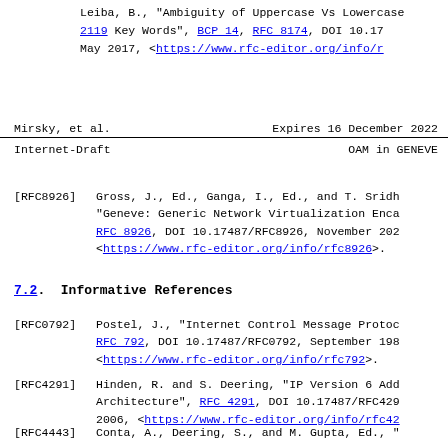[RFC8174] Leiba, B., "Ambiguity of Uppercase Vs Lowercase in RFC 2119 Key Words", BCP 14, RFC 8174, DOI 10.17487/RFC8174, May 2017, <https://www.rfc-editor.org/info/rfc8174>.
Mirsky, et al.          Expires 16 December 2022
Internet-Draft                    OAM in GENEVE
[RFC8926] Gross, J., Ed., Ganga, I., Ed., and T. Sridh... "Geneve: Generic Network Virtualization Enca... RFC 8926, DOI 10.17487/RFC8926, November 202... <https://www.rfc-editor.org/info/rfc8926>.
7.2. Informative References
[RFC0792] Postel, J., "Internet Control Message Proto... RFC 792, DOI 10.17487/RFC0792, September 198... <https://www.rfc-editor.org/info/rfc792>.
[RFC4291] Hinden, R. and S. Deering, "IP Version 6 Add... Architecture", RFC 4291, DOI 10.17487/RFC429... 2006, <https://www.rfc-editor.org/info/rfc42...
[RFC4443] Conta, A., Deering, S., and M. Gupta, Ed., "... Control Message Protocol (ICMPv6) for the In... Protocol, Version 6 (IPv6) Specification"...